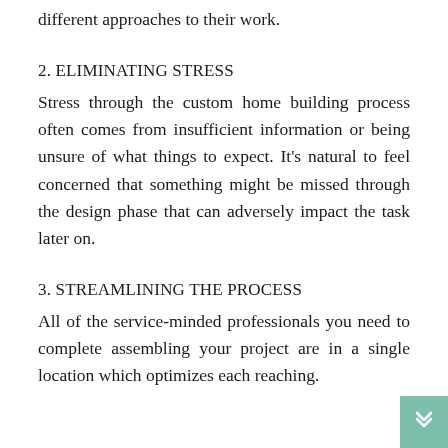different approaches to their work.
2. ELIMINATING STRESS
Stress through the custom home building process often comes from insufficient information or being unsure of what things to expect. It’s natural to feel concerned that something might be missed through the design phase that can adversely impact the task later on.
3. STREAMLINING THE PROCESS
All of the service-minded professionals you need to complete assembling your project are in a single location which optimizes each reaching.